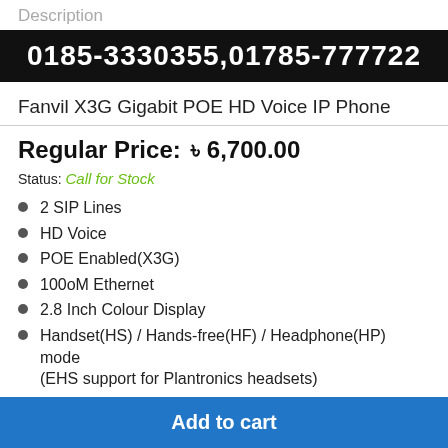Description
[Figure (other): Black banner with white bold text showing phone numbers: 0185-3330355,01785-777722]
Fanvil X3G Gigabit POE HD Voice IP Phone
Regular Price:  ৳ 6,700.00
Status: Call for Stock
2 SIP Lines
HD Voice
POE Enabled(X3G)
100oM Ethernet
2.8 Inch Colour Display
Handset(HS) / Hands-free(HF) / Headphone(HP) mode (EHS support for Plantronics headsets)
Add to cart